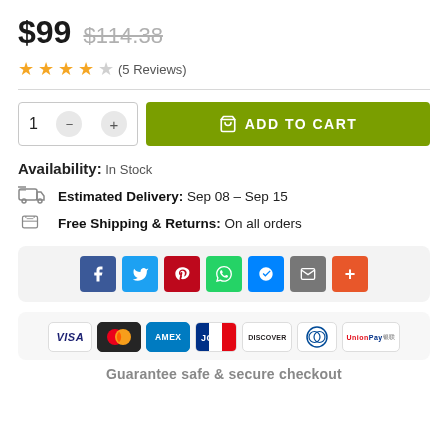$99  $114.38
★★★★☆ (5 Reviews)
1  −  +  ADD TO CART
Availability: In Stock
Estimated Delivery: Sep 08 – Sep 15
Free Shipping & Returns: On all orders
[Figure (infographic): Social share buttons: Facebook, Twitter, Pinterest, WhatsApp, Messenger, Email, More]
[Figure (infographic): Payment method icons: VISA, Mastercard, AMEX, JCB, DISCOVER, Diners Club, UnionPay]
Guarantee safe & secure checkout